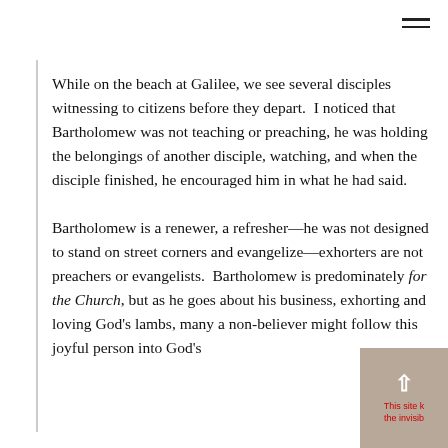While on the beach at Galilee, we see several disciples witnessing to citizens before they depart.  I noticed that Bartholomew was not teaching or preaching, he was holding the belongings of another disciple, watching, and when the disciple finished, he encouraged him in what he had said.
Bartholomew is a renewer, a refresher—he was not designed to stand on street corners and evangelize—exhorters are not preachers or evangelists.  Bartholomew is predominately for the Church, but as he goes about his business, exhorting and loving God's lambs, many a non-believer might follow this joyful person into God's